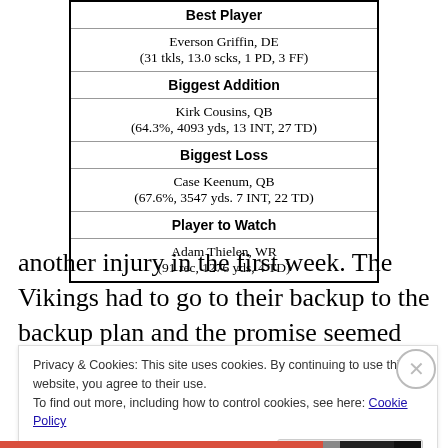| Best Player |
| --- |
| Everson Griffin, DE
(31 tkls, 13.0 scks, 1 PD, 3 FF) |
| Biggest Addition |
| Kirk Cousins, QB
(64.3%, 4093 yds, 13 INT, 27 TD) |
| Biggest Loss |
| Case Keenum, QB
(67.6%, 3547 yds. 7 INT, 22 TD) |
| Player to Watch |
| Adam Thielen, WR
(91 rec, 1276 yds, 4 TD) |
another injury in the first week. The Vikings had to go to their backup to the backup plan and the promise seemed
Privacy & Cookies: This site uses cookies. By continuing to use this website, you agree to their use.
To find out more, including how to control cookies, see here: Cookie Policy